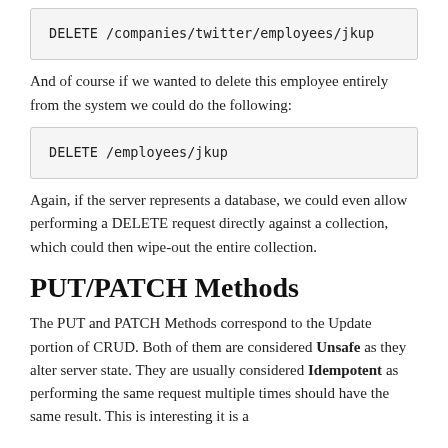DELETE /companies/twitter/employees/jkup
And of course if we wanted to delete this employee entirely from the system we could do the following:
DELETE /employees/jkup
Again, if the server represents a database, we could even allow performing a DELETE request directly against a collection, which could then wipe-out the entire collection.
PUT/PATCH Methods
The PUT and PATCH Methods correspond to the Update portion of CRUD. Both of them are considered Unsafe as they alter server state. They are usually considered Idempotent as performing the same request multiple times should have the same result. This is interesting it is a...